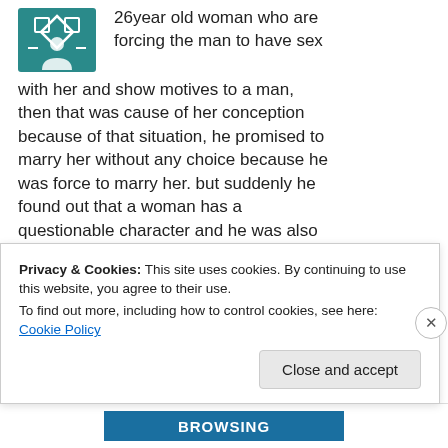[Figure (logo): Teal/green geometric avatar icon with diamond pattern and person silhouette]
26year old woman who are forcing the man to have sex with her and show motives to a man, then that was cause of her conception because of that situation, he promised to marry her without any choice because he was force to marry her. but suddenly he found out that a woman has a questionable character and he was also domestically abused by a woman and publicly insulting him which resulting him to back out and marry the one he really
Privacy & Cookies: This site uses cookies. By continuing to use this website, you agree to their use.
To find out more, including how to control cookies, see here: Cookie Policy